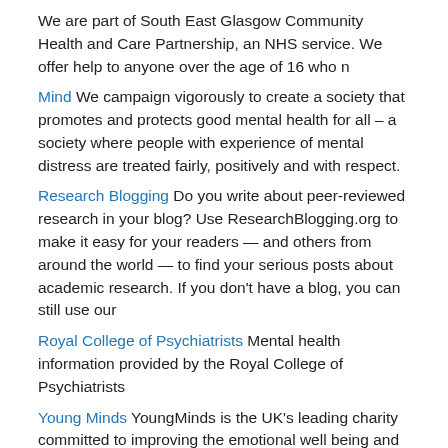We are part of South East Glasgow Community Health and Care Partnership, an NHS service. We offer help to anyone over the age of 16 who n
Mind We campaign vigorously to create a society that promotes and protects good mental health for all – a society where people with experience of mental distress are treated fairly, positively and with respect.
Research Blogging Do you write about peer-reviewed research in your blog? Use ResearchBlogging.org to make it easy for your readers — and others from around the world — to find your serious posts about academic research. If you don't have a blog, you can still use our
Royal College of Psychiatrists Mental health information provided by the Royal College of Psychiatrists
Young Minds YoungMinds is the UK's leading charity committed to improving the emotional well being and mental health of children and young people. Driven by their experiences we campaign, research and influence policy and practice.